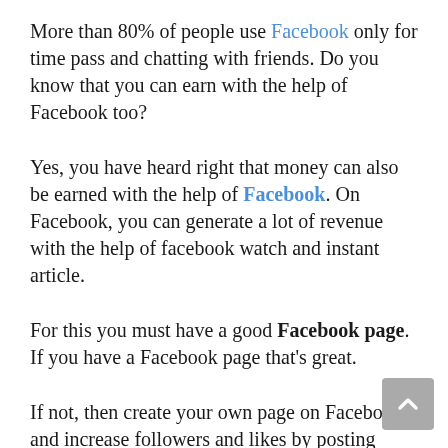More than 80% of people use Facebook only for time pass and chatting with friends. Do you know that you can earn with the help of Facebook too?
Yes, you have heard right that money can also be earned with the help of Facebook. On Facebook, you can generate a lot of revenue with the help of facebook watch and instant article.
For this you must have a good Facebook page. If you have a Facebook page that's great.
If not, then create your own page on Facebook and increase followers and likes by posting good content on it. Only after that